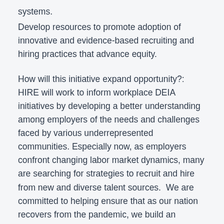systems.
Develop resources to promote adoption of innovative and evidence-based recruiting and hiring practices that advance equity.
How will this initiative expand opportunity?: HIRE will work to inform workplace DEIA initiatives by developing a better understanding among employers of the needs and challenges faced by various underrepresented communities. Especially now, as employers confront changing labor market dynamics, many are searching for strategies to recruit and hire from new and diverse talent sources.  We are committed to helping ensure that as our nation recovers from the pandemic, we build an inclusive economy that works for everyone.
What can we expect to see from HIRE?: HIRE will engage a broad array of stakeholders in pursuit of a